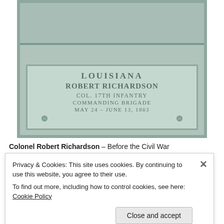[Figure (photo): A historical bronze or cast plaque with relief figure at top and inscription text reading: LOUISIANA / ROBERT RICHARDSON / COL. 17TH INFANTRY / COMMANDING BRIGADE / MAY 24–JUNE 13, 1863. Background is green-grey patina.]
Colonel Robert Richardson – Before the Civil War
Privacy & Cookies: This site uses cookies. By continuing to use this website, you agree to their use.
To find out more, including how to control cookies, see here: Cookie Policy